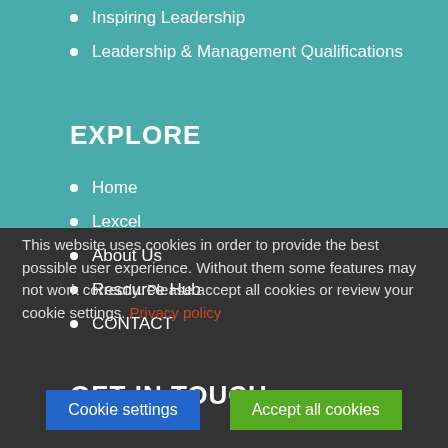Inspiring Leadership
Leadership & Management Qualifications
EXPLORE
Home
Lexcel
About Us
Resource Hub
CONTACT
GET IN TOUCH
This website uses cookies in order to provide the best possible user experience. Without them some features may not work correctly. Please accept all cookies or review your cookie settings. Privacy policy